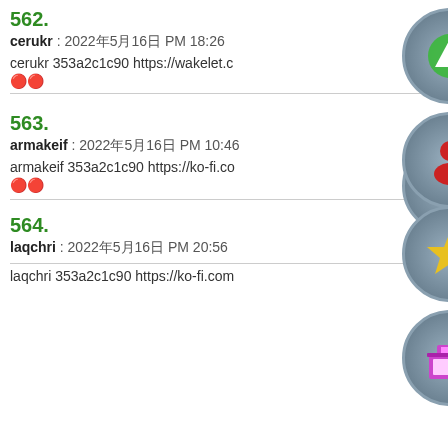562.
cerukr : 2022年5月16日 PM 18:26
cerukr 353a2c1c90 https://wakelet.c...
🔴🔴
563.
armakeif : 2022年5月16日 PM 10:46
armakeif 353a2c1c90 https://ko-fi.co...
🔴🔴
564.
laqchri : 2022年5月16日 PM 20:56
laqchri 353a2c1c90 https://ko-fi.com...